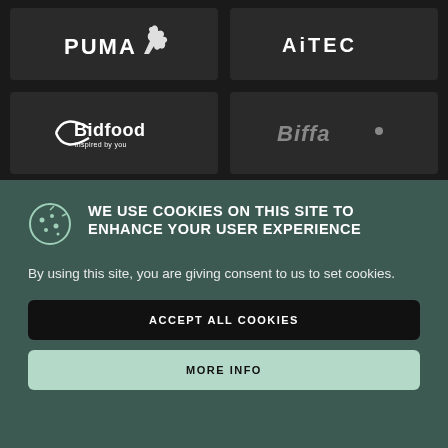[Figure (logo): PUMA logo in white on dark background]
[Figure (logo): AITEC logo in white on dark background]
[Figure (logo): Bidfood logo - inspired by you - white on dark background]
[Figure (logo): Biffa logo in gray on dark background]
WE USE COOKIES ON THIS SITE TO ENHANCE YOUR USER EXPERIENCE
By using this site, you are giving consent to us to set cookies.
ACCEPT ALL COOKIES
MORE INFO